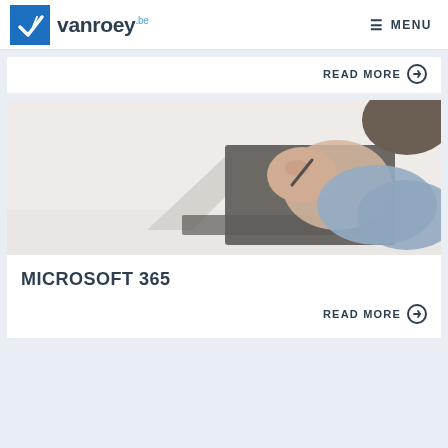vanroey.be  ☰ MENU
READ MORE ➔
[Figure (photo): Person using a convertible laptop/tablet device in tent mode, touching the screen with a stylus or finger, wearing a denim shirt, white background]
MICROSOFT 365
READ MORE ➔